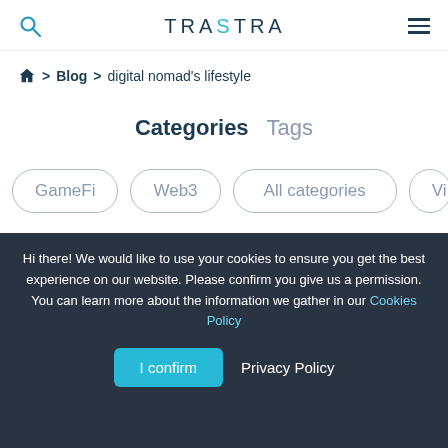TRASTRA
Home > Blog > digital nomad's lifestyle
Categories  Tags
GameFi
Web3
All categories
Vi…
Hi there! We would like to use your cookies to ensure you get the best experience on our website. Please confirm you give us a permission. You can learn more about the information we gather in our Cookies Policy
I confirm  Privacy Policy